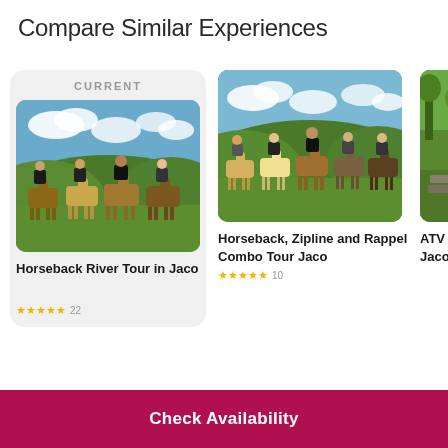Compare Similar Experiences
[Figure (screenshot): Card labeled CURRENT with horseback riding tour image - Horseback River Tour in Jaco]
Horseback River Tour in Jaco
[Figure (photo): Horseback, Zipline and Rappel Combo Tour Jaco - group on horseback in green hills]
Horseback, Zipline and Rappel Combo Tour Jaco
[Figure (photo): Partial view of ATV tour in Jaco card]
ATV Jaco
Check Availability